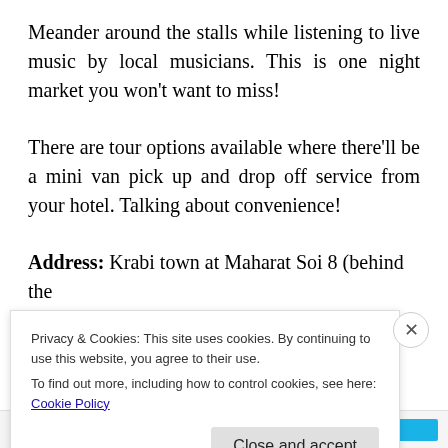Meander around the stalls while listening to live music by local musicians. This is one night market you won't want to miss!
There are tour options available where there'll be a mini van pick up and drop off service from your hotel. Talking about convenience!
Address: Krabi town at Maharat Soi 8 (behind the
Privacy & Cookies: This site uses cookies. By continuing to use this website, you agree to their use.
To find out more, including how to control cookies, see here: Cookie Policy
Close and accept